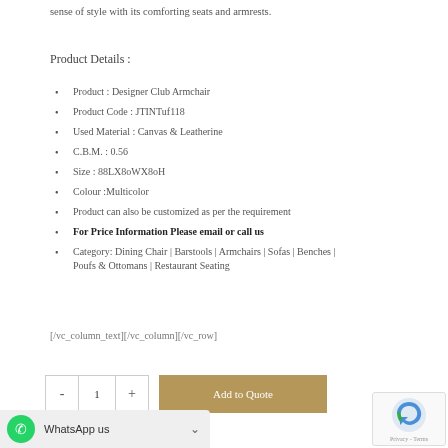sense of style with its comforting seats and armrests.
Product Details :
Product : Designer Club Armchair
Product Code : JTINTuf118
Used Material : Canvas & Leatherine
C.B.M. : 0.56
Size : 88LX8oWX8oH
Colour :Multicolor
Product can also be customized as per the requirement
For Price Information Please email or call us
Category: Dining Chair | Barstools | Armchairs | Sofas | Benches | Poufs & Ottomans | Restaurant Seating
[/vc_column_text][/vc_column][/vc_row]